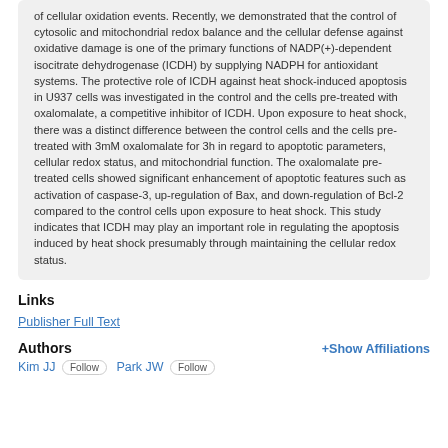of cellular oxidation events. Recently, we demonstrated that the control of cytosolic and mitochondrial redox balance and the cellular defense against oxidative damage is one of the primary functions of NADP(+)-dependent isocitrate dehydrogenase (ICDH) by supplying NADPH for antioxidant systems. The protective role of ICDH against heat shock-induced apoptosis in U937 cells was investigated in the control and the cells pre-treated with oxalomalate, a competitive inhibitor of ICDH. Upon exposure to heat shock, there was a distinct difference between the control cells and the cells pre-treated with 3mM oxalomalate for 3h in regard to apoptotic parameters, cellular redox status, and mitochondrial function. The oxalomalate pre-treated cells showed significant enhancement of apoptotic features such as activation of caspase-3, up-regulation of Bax, and down-regulation of Bcl-2 compared to the control cells upon exposure to heat shock. This study indicates that ICDH may play an important role in regulating the apoptosis induced by heat shock presumably through maintaining the cellular redox status.
Links
Publisher Full Text
Authors
+Show Affiliations
Kim JJ  Follow  Park JW  Follow